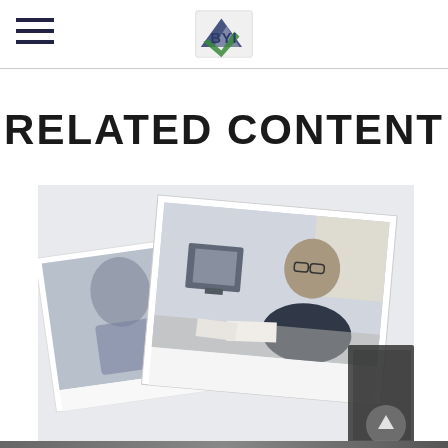BYI logo and navigation
RELATED CONTENT
[Figure (photo): Two overlapping Polaroid-style photographs showing an older man working at a desk with a computer monitor and another person. The images are slightly tilted and layered on a light background.]
[Figure (photo): Partial bottom strip showing another photo or content area, cropped at the bottom of the page.]